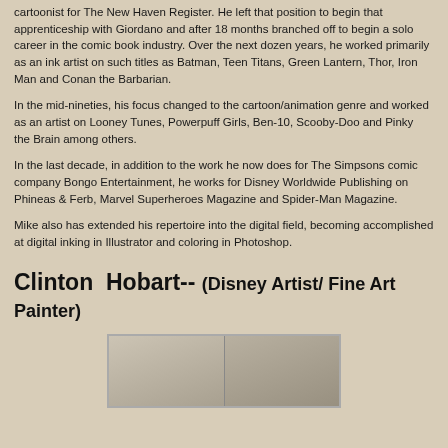cartoonist for The New Haven Register. He left that position to begin that apprenticeship with Giordano and after 18 months branched off to begin a solo career in the comic book industry. Over the next dozen years, he worked primarily as an ink artist on such titles as Batman, Teen Titans, Green Lantern, Thor, Iron Man and Conan the Barbarian.
In the mid-nineties, his focus changed to the cartoon/animation genre and worked as an artist on Looney Tunes, Powerpuff Girls, Ben-10, Scooby-Doo and Pinky the Brain among others.
In the last decade, in addition to the work he now does for The Simpsons comic company Bongo Entertainment, he works for Disney Worldwide Publishing on Phineas & Ferb, Marvel Superheroes Magazine and Spider-Man Magazine.
Mike also has extended his repertoire into the digital field, becoming accomplished at digital inking in Illustrator and coloring in Photoshop.
Clinton Hobart-- (Disney Artist/ Fine Art Painter)
[Figure (photo): Partial photo of what appears to be artwork or paintings, cropped at the bottom of the page]